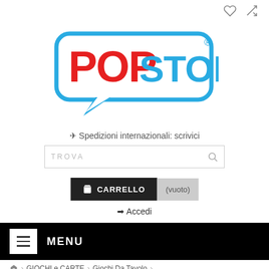[Figure (logo): Pop Store logo: speech bubble outline in blue with 'POP' in red bold letters and 'STORE' in blue bold letters, registered trademark symbol]
✈ Spedizioni internazionali: scrivici
TROVA (search input)
🛒 CARRELLO (vuoto)
➡ Accedi
☰ MENU
🏠 > GIOCHI e CARTE > Giochi Da Tavolo >
Batman - The Dark Knight Returns - The Game